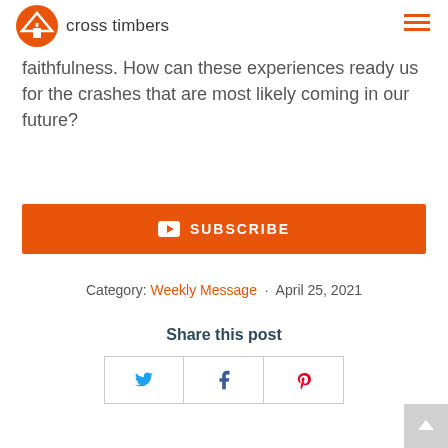cross timbers
faithfulness. How can these experiences ready us for the crashes that are most likely coming in our future?
[Figure (other): Orange SUBSCRIBE button with YouTube play icon]
Category: Weekly Message · April 25, 2021
Share this post
[Figure (other): Social share buttons: Twitter, Facebook, Pinterest]